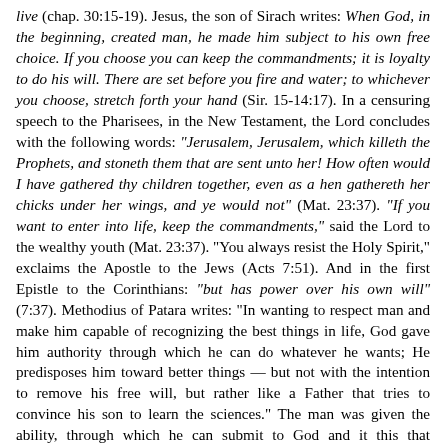good, death and evil: choose life so that you and your seed may live (chap. 30:15-19). Jesus, the son of Sirach writes: When God, in the beginning, created man, he made him subject to his own free choice. If you choose you can keep the commandments; it is loyalty to do his will. There are set before you fire and water; to whichever you choose, stretch forth your hand (Sir. 15-14:17). In a censuring speech to the Pharisees, in the New Testament, the Lord concludes with the following words: "Jerusalem, Jerusalem, which killeth the Prophets, and stoneth them that are sent unto her! How often would I have gathered thy children together, even as a hen gathereth her chicks under her wings, and ye would not" (Mat. 23:37). "If you want to enter into life, keep the commandments," said the Lord to the wealthy youth (Mat. 23:37). "You always resist the Holy Spirit," exclaims the Apostle to the Jews (Acts 7:51). And in the first Epistle to the Corinthians: "but has power over his own will" (7:37). Methodius of Patara writes: "In wanting to respect man and make him capable of recognizing the best things in life, God gave him authority through which he can do whatever he wants; He predisposes him toward better things — but not with the intention to remove his free will, but rather like a Father that tries to convince his son to learn the sciences." The man was given the ability, through which he can submit to God and it this that constitutes arbitrary freedom. Generally speaking, it was the fathers and teachers of the Church who proved the freedom of the human will against the heathens, gnostics and "Manicheans."